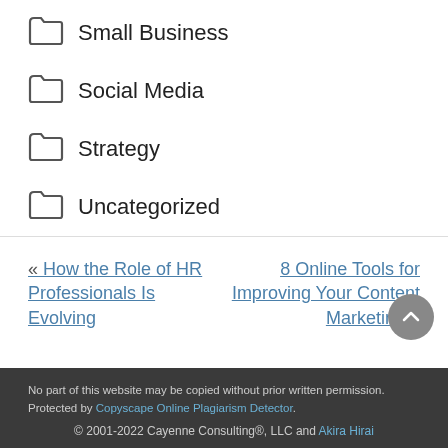Small Business
Social Media
Strategy
Uncategorized
« How the Role of HR Professionals Is Evolving
8 Online Tools for Improving Your Content Marketing »
No part of this website may be copied without prior written permission. Protected by Copyscape Online Plagiarism Detector. © 2001-2022 Cayenne Consulting®, LLC and Akira Hirai